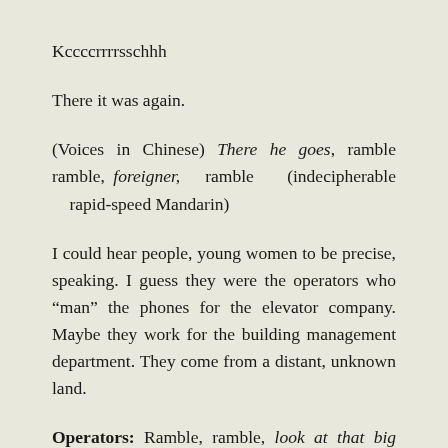Kccccrrrrsschhh
There it was again.
(Voices in Chinese) There he goes, ramble ramble, foreigner, ramble (indecipherable rapid-speed Mandarin)
I could hear people, young women to be precise, speaking. I guess they were the operators who “man” the phones for the elevator company. Maybe they work for the building management department. They come from a distant, unknown land.
Operators: Ramble, ramble, look at that big nose of his, so sharp, ramble ramble